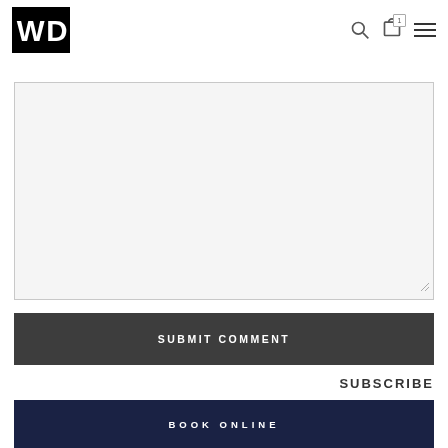WD logo with navigation icons (search, cart with badge '1', hamburger menu)
[Figure (screenshot): Empty textarea / comment input box with light gray background and resize handle in bottom-right corner]
SUBMIT COMMENT
SUBSCRIBE
BOOK ONLINE